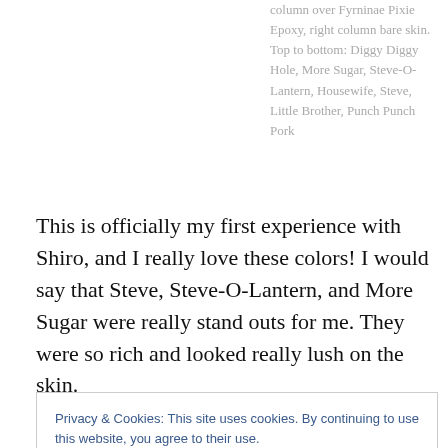column over Fyrninae Pixie Epoxy, right column bare skin. Top to bottom: Diggy Diggy Hole, More Sugar, Steve-O-Lantern, Housewife, Steve, Little Brother, Punch Punch Pork
This is officially my first experience with Shiro, and I really love these colors! I would say that Steve, Steve-O-Lantern, and More Sugar were really stand outs for me. They were so rich and looked really lush on the skin.
Privacy & Cookies: This site uses cookies. By continuing to use this website, you agree to their use.
To find out more, including how to control cookies, see here: Cookie Policy
primer alone, and when I patted it onto the Pixie Epoxy I